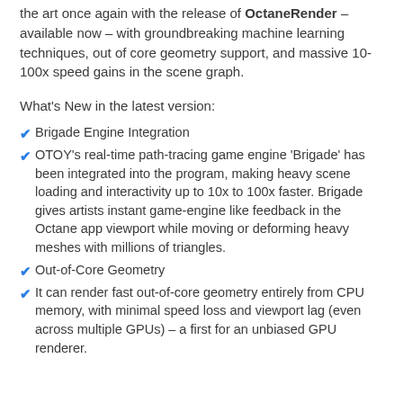the art once again with the release of OctaneRender – available now – with groundbreaking machine learning techniques, out of core geometry support, and massive 10-100x speed gains in the scene graph.
What's New in the latest version:
Brigade Engine Integration
OTOY's real-time path-tracing game engine 'Brigade' has been integrated into the program, making heavy scene loading and interactivity up to 10x to 100x faster. Brigade gives artists instant game-engine like feedback in the Octane app viewport while moving or deforming heavy meshes with millions of triangles.
Out-of-Core Geometry
It can render fast out-of-core geometry entirely from CPU memory, with minimal speed loss and viewport lag (even across multiple GPUs) – a first for an unbiased GPU renderer.